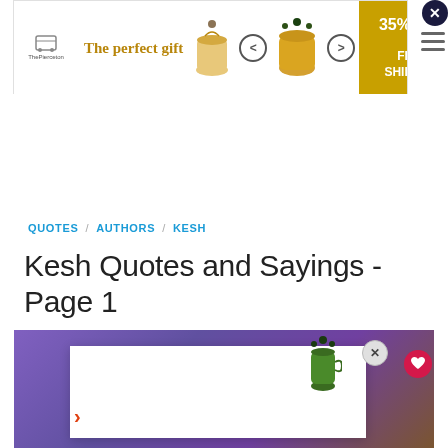[Figure (screenshot): Advertisement banner: The perfect gift - 35% OFF + FREE SHIPPING with food/gift imagery and navigation arrows]
QUOTES / AUTHORS / KESH
Kesh Quotes and Sayings - Page 1
[Figure (screenshot): Bottom section showing a purple-background image partially covered by a white overlay ad panel with a close button, chevron arrow, and heart button]